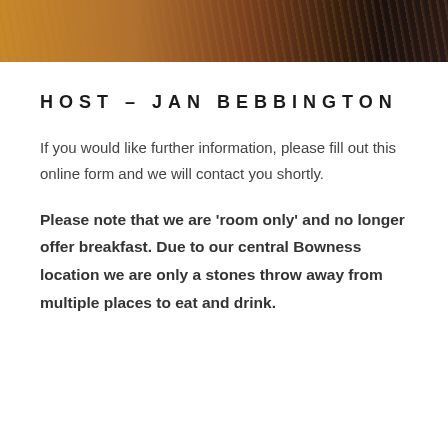[Figure (photo): Partial photo strip at top of page showing warm toned textured fabric or surface in amber, brown and dark tones]
HOST – JAN BEBBINGTON
If you would like further information, please fill out this online form and we will contact you shortly.
Please note that we are 'room only' and no longer offer breakfast. Due to our central Bowness location we are only a stones throw away from multiple places to eat and drink.